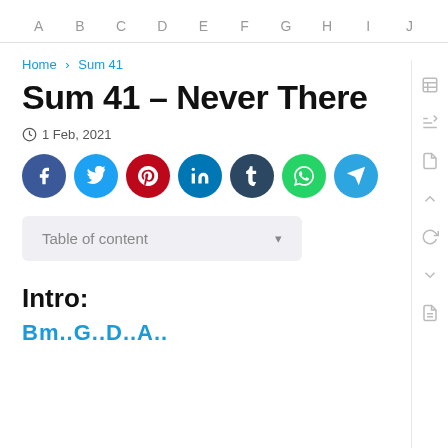A B C D E F G H I J
Home › Sum 41
Sum 41 – Never There
1 Feb, 2021
[Figure (infographic): Row of social share icon buttons: Facebook (blue), Twitter (light blue), Pinterest (red), LinkedIn (dark blue), Tumblr (dark navy), WhatsApp (green), Telegram (sky blue)]
Table of content ▾
Intro:
Bm..G..D..A..